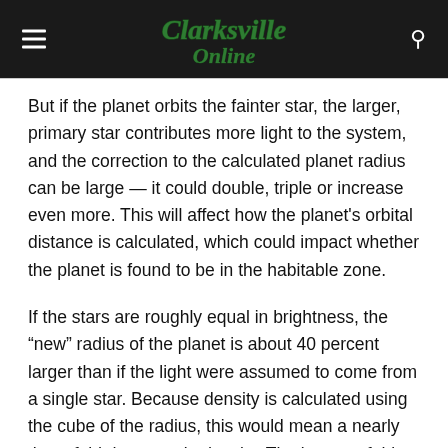Clarksville Online
But if the planet orbits the fainter star, the larger, primary star contributes more light to the system, and the correction to the calculated planet radius can be large — it could double, triple or increase even more. This will affect how the planet's orbital distance is calculated, which could impact whether the planet is found to be in the habitable zone.
If the stars are roughly equal in brightness, the “new” radius of the planet is about 40 percent larger than if the light were assumed to come from a single star. Because density is calculated using the cube of the radius, this would mean a nearly three-fold decrease in density. The impact of this correction is most significant for smaller planets because it means a planet that had once been considered rocky could, in fact, be gaseous.